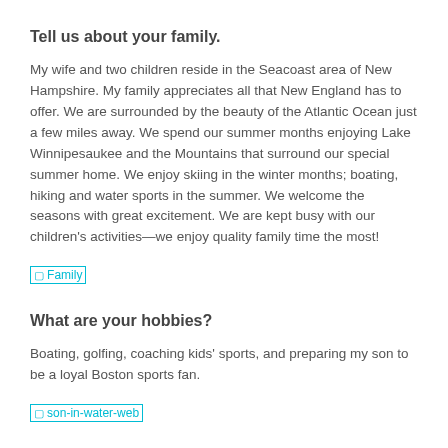Tell us about your family.
My wife and two children reside in the Seacoast area of New Hampshire. My family appreciates all that New England has to offer. We are surrounded by the beauty of the Atlantic Ocean just a few miles away. We spend our summer months enjoying Lake Winnipesaukee and the Mountains that surround our special summer home. We enjoy skiing in the winter months; boating, hiking and water sports in the summer. We welcome the seasons with great excitement. We are kept busy with our children's activities—we enjoy quality family time the most!
[Figure (photo): Broken image placeholder labeled 'Family']
What are your hobbies?
Boating, golfing, coaching kids' sports, and preparing my son to be a loyal Boston sports fan.
[Figure (photo): Broken image placeholder labeled 'son-in-water-web']